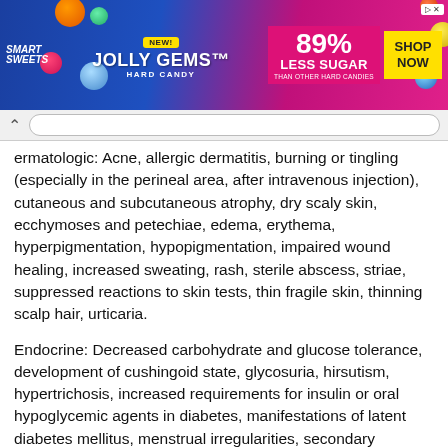[Figure (other): Advertisement banner for Smart Sweets Jolly Gems Hard Candy. Blue and pink gradient background. Text: NEW! JOLLY GEMS HARD CANDY, 89% LESS SUGAR THAN OTHER HARD CANDIES, SHOP NOW button.]
ermatologic: Acne, allergic dermatitis, burning or tingling (especially in the perineal area, after intravenous injection), cutaneous and subcutaneous atrophy, dry scaly skin, ecchymoses and petechiae, edema, erythema, hyperpigmentation, hypopigmentation, impaired wound healing, increased sweating, rash, sterile abscess, striae, suppressed reactions to skin tests, thin fragile skin, thinning scalp hair, urticaria.
Endocrine: Decreased carbohydrate and glucose tolerance, development of cushingoid state, glycosuria, hirsutism, hypertrichosis, increased requirements for insulin or oral hypoglycemic agents in diabetes, manifestations of latent diabetes mellitus, menstrual irregularities, secondary adrenocortical and pituitary unresponsiveness (particularly in times of stress, as in trauma, surgery, or illness), suppression of growth in pediatric patients.
Fluid and electrolyte disturbances: Congestive heart